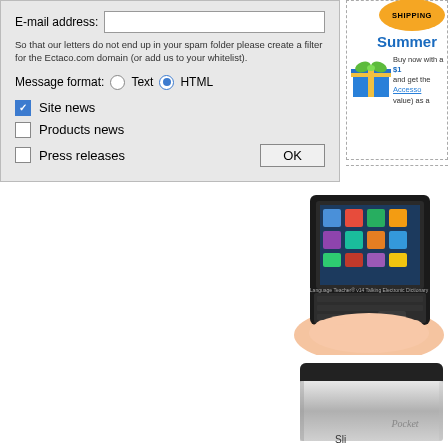E-mail address:
So that our letters do not end up in your spam folder please create a filter for the Ectaco.com domain (or add us to your whitelist).
Message format:  Text  HTML
Site news
Products news
Press releases
SHIPPING
Summer
Buy now with a $1 and get the Accesso value) as a
[Figure (photo): Hand holding a small Ectaco electronic dictionary device with touchscreen showing app icons]
[Figure (photo): Silver Pocket electronic translator/device shown closed]